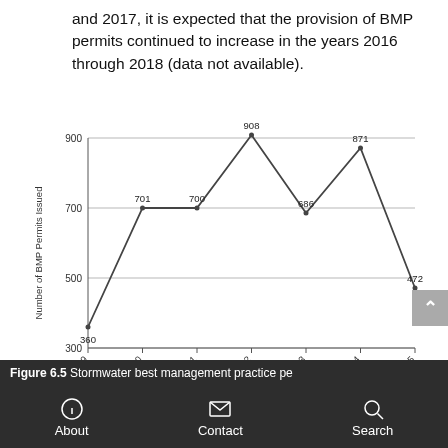and 2017, it is expected that the provision of BMP permits continued to increase in the years 2016 through 2018 (data not available).
[Figure (line-chart): ]
Figure 6.5 Stormwater best management practice pe...